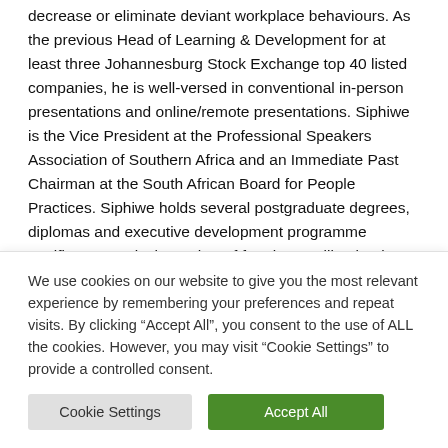decrease or eliminate deviant workplace behaviours. As the previous Head of Learning & Development for at least three Johannesburg Stock Exchange top 40 listed companies, he is well-versed in conventional in-person presentations and online/remote presentations. Siphiwe is the Vice President at the Professional Speakers Association of Southern Africa and an Immediate Past Chairman at the South African Board for People Practices. Siphiwe holds several postgraduate degrees, diplomas and executive development programme certificates. He is the author of four best-selling books
We use cookies on our website to give you the most relevant experience by remembering your preferences and repeat visits. By clicking “Accept All”, you consent to the use of ALL the cookies. However, you may visit “Cookie Settings” to provide a controlled consent.
Cookie Settings
Accept All